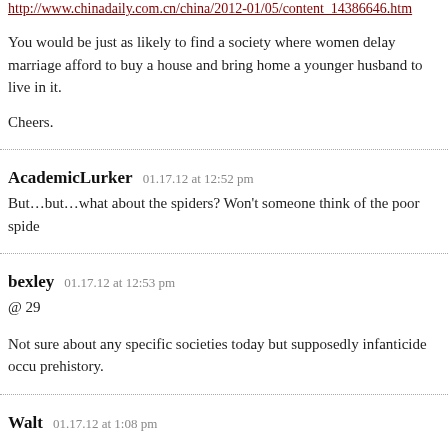http://www.chinadaily.com.cn/china/2012-01/05/content_14386646.htm
You would be just as likely to find a society where women delay marriage afford to buy a house and bring home a younger husband to live in it.
Cheers.
AcademicLurker   01.17.12 at 12:52 pm
But…but…what about the spiders? Won't someone think of the poor spide
bexley   01.17.12 at 12:53 pm
@ 29
Not sure about any specific societies today but supposedly infanticide occu prehistory.
Walt   01.17.12 at 1:08 pm